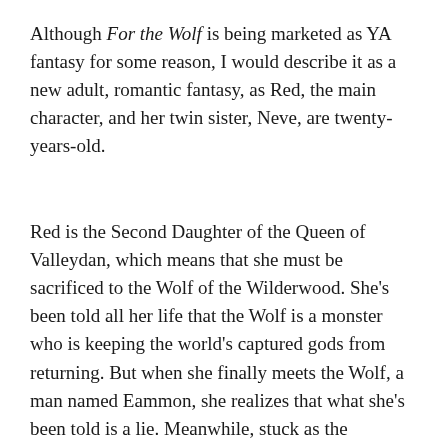Although For the Wolf is being marketed as YA fantasy for some reason, I would describe it as a new adult, romantic fantasy, as Red, the main character, and her twin sister, Neve, are twenty-years-old.
Red is the Second Daughter of the Queen of Valleydan, which means that she must be sacrificed to the Wolf of the Wilderwood. She's been told all her life that the Wolf is a monster who is keeping the world's captured gods from returning. But when she finally meets the Wolf, a man named Eammon, she realizes that what she's been told is a lie. Meanwhile, stuck as the Princess, Neve, the First Daughter, is doing everything in her power to get Red back from